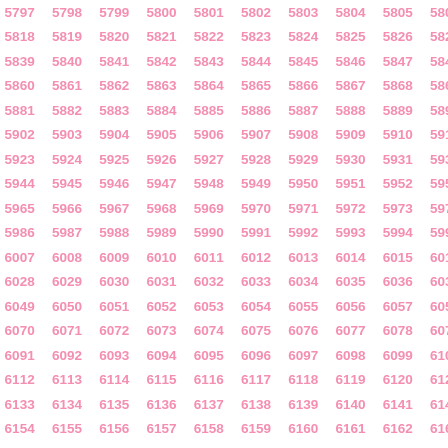Grid of numbers from 5797 to 6310, arranged in rows of 11 columns, incrementing by 21 per row. Displayed in pink/rose color on white background.